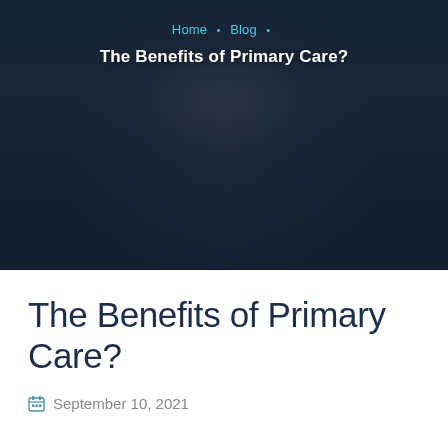[Figure (photo): Dark-toned hero banner photo of a smiling woman with long hair, overlaid with a dark blue semi-transparent overlay]
Home • Blog • The Benefits of Primary Care?
The Benefits of Primary Care?
September 10, 2021